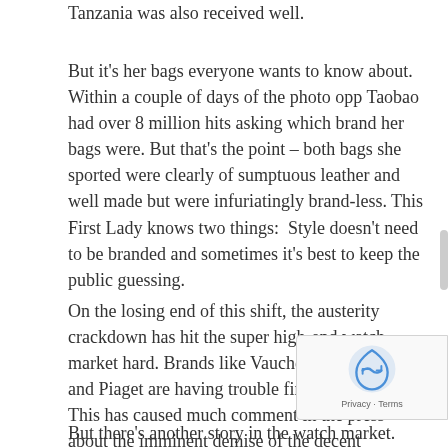Tanzania was also received well.
But it's her bags everyone wants to know about. Within a couple of days of the photo opp Taobao had over 8 million hits asking which brand her bags were. But that's the point – both bags she sported were clearly of sumptuous leather and well made but were infuriatingly brand-less. This First Lady knows two things:  Style doesn't need to be branded and sometimes it's best to keep the public guessing.
On the losing end of this shift, the austerity crackdown has hit the super high-end watch market hard. Brands like Vaucheron Constantin and Piaget are having trouble finding buyers. This has caused much comment in the press about the imminent demise of the decent timepiece market in China after a roller coaster ride of bejeweled wrists and saucer sized clocks poking out under the cuff of a tailored Zegna suit or three.
But there's another story in the watch market. Lots of